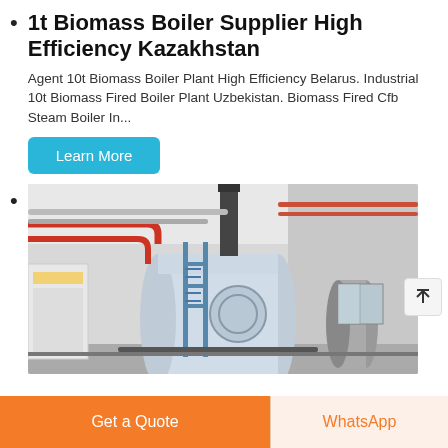1t Biomass Boiler Supplier High Efficiency Kazakhstan
Agent 10t Biomass Boiler Plant High Efficiency Belarus. Industrial 10t Biomass Fired Boiler Plant Uzbekistan. Biomass Fired Cfb Steam Boiler In...
Learn More
[Figure (photo): Industrial boiler room with large horizontal white boiler tank, red and blue pipes, metal scaffolding and chimney stack inside a white industrial building]
Get a Quote
WhatsApp